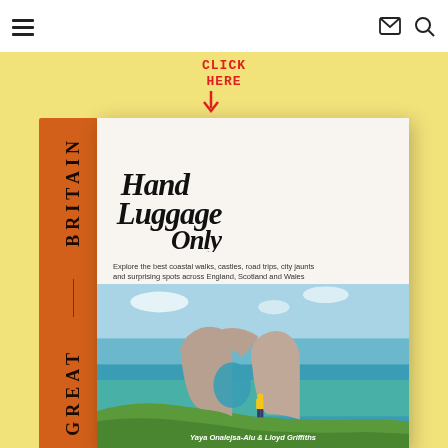Navigation header with hamburger menu, email icon, and search icon
CLICK HERE ↓
[Figure (photo): Book cover of 'Hand Luggage Only: Great Britain' by Yaya Onalejsa-Alu & Lloyd Griffiths. The book has an orange spine with 'GREAT BRITAIN' written vertically, and the cover shows a coastal scene with a natural stone arch (Durdle Door) with turquoise water and a person in a yellow jacket. The title 'Hand Luggage Only' is written in handwriting-style script, with subtitle 'Explore the best coastal walks, castles, road trips, city jaunts and surprising spots across England, Scotland and Wales'.]